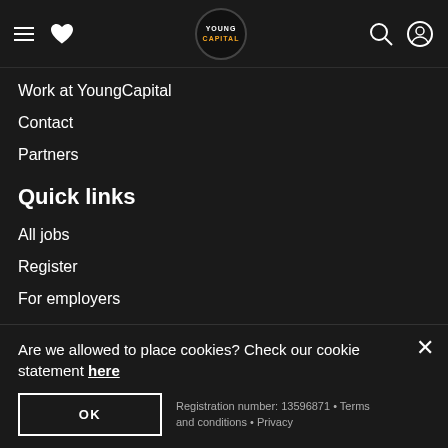YoungCapital navigation bar with hamburger menu, heart icon, logo, search and user icons
Work at YoungCapital
Contact
Partners
Quick links
All jobs
Register
For employers
Work at top employers
Are we allowed to place cookies? Check our cookie statement here
OK
Registration number: 13596871 • Terms and conditions • Privacy